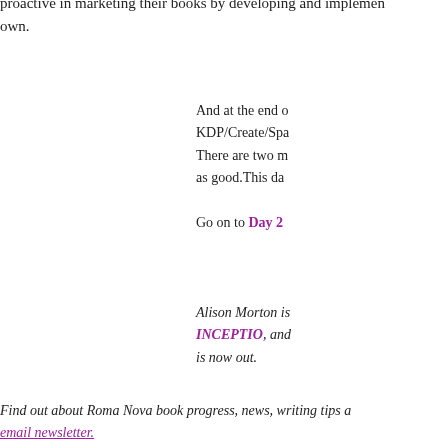proactive in marketing their books by developing and implementing their own.
And at the end of KDP/Create/Spa... There are two m... as good.This da...
Go on to Day 2
Alison Morton is INCEPTIO, and is now out.
Find out about Roma Nova book progress, news, writing tips a... email newsletter.
If you enjoyed this post, do share it with your friends!
Twitter  Facebook  LinkedIn  Reddit